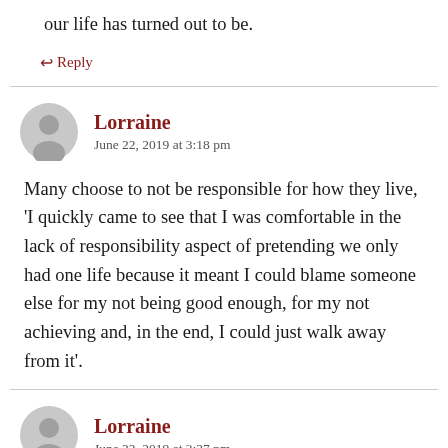our life has turned out to be.
↩ Reply
Lorraine
June 22, 2019 at 3:18 pm
Many choose to not be responsible for how they live, 'I quickly came to see that I was comfortable in the lack of responsibility aspect of pretending we only had one life because it meant I could blame someone else for my not being good enough, for my not achieving and, in the end, I could just walk away from it'.
Lorraine
June 22, 2019 at 3:27 pm